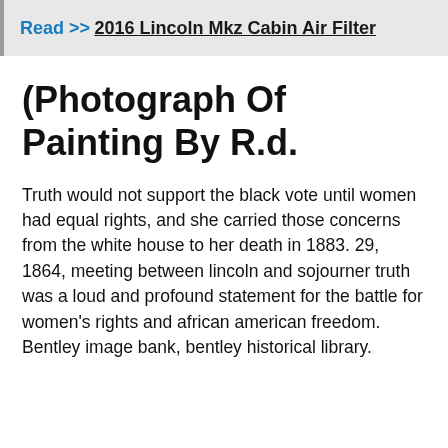Read >> 2016 Lincoln Mkz Cabin Air Filter
(Photograph Of Painting By R.d.
Truth would not support the black vote until women had equal rights, and she carried those concerns from the white house to her death in 1883. 29, 1864, meeting between lincoln and sojourner truth was a loud and profound statement for the battle for women's rights and african american freedom. Bentley image bank, bentley historical library.